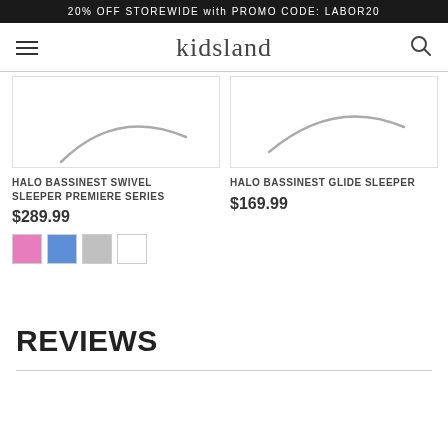20% OFF STOREWIDE with PROMO CODE: LABOR20
kidsland
[Figure (photo): Product image of HALO Bassinest Swivel Sleeper Premiere Series showing bottom curve of the bassinet]
HALO BASSINEST SWIVEL SLEEPER PREMIERE SERIES
$289.99
[Figure (photo): Product image of HALO Bassinest Glide Sleeper showing bottom curve of the bassinet]
HALO BASSINEST GLIDE SLEEPER
$169.99
REVIEWS